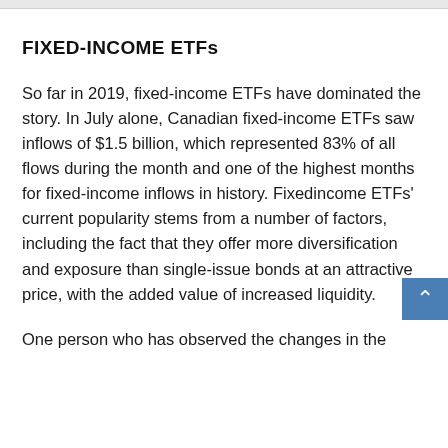FIXED-INCOME ETFs
So far in 2019, fixed-income ETFs have dominated the story. In July alone, Canadian fixed-income ETFs saw inflows of $1.5 billion, which represented 83% of all flows during the month and one of the highest months for fixed-income inflows in history. Fixedincome ETFs' current popularity stems from a number of factors, including the fact that they offer more diversification and exposure than single-issue bonds at an attractive price, with the added value of increased liquidity.
One person who has observed the changes in the